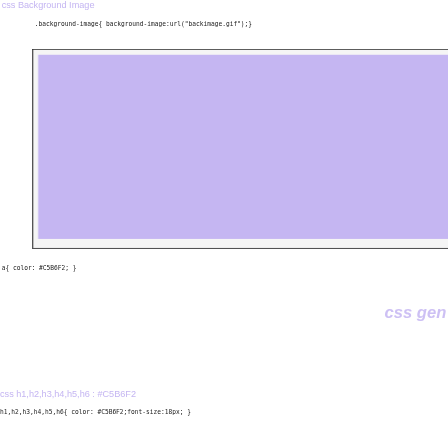css Background Image
.background-image{ background-image:url("backimage.gif");}
[Figure (illustration): A preview box with a light purple/lavender (#C5B6F2) background fill inside a bordered rectangle, demonstrating a CSS background-image property result.]
a{ color: #C5B6F2; }
css gen
css h1,h2,h3,h4,h5,h6 : #C5B6F2
h1,h2,h3,h4,h5,h6{ color: #C5B6F2;font-size:18px; }